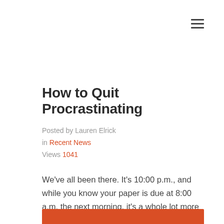☰
How to Quit Procrastinating
Posted by Lauren Elrick in Recent News Views 1041
We've all been there. It's 10:00 p.m., and while you know your paper is due at 8:00 a.m. the next morning, it's a whole lot more interesting to dawdle around your dorm room and do just about everything but sit down and start writing. Even the most mundane tasks suddenly take on a golden allure:
[Figure (other): Orange/red colored bar or image block at the bottom of the page]